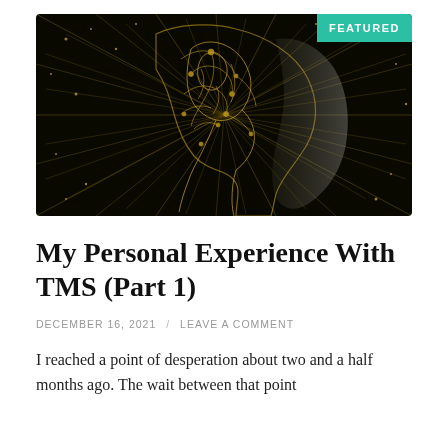[Figure (illustration): Dark background image of a human head in profile showing golden neural network / brain anatomy illustration with light rays radiating outward, and a woman's face visible on the right side.]
My Personal Experience With TMS (Part 1)
DECEMBER 16, 2021 / LEAVE A COMMENT
I reached a point of desperation about two and a half months ago. The wait between that point